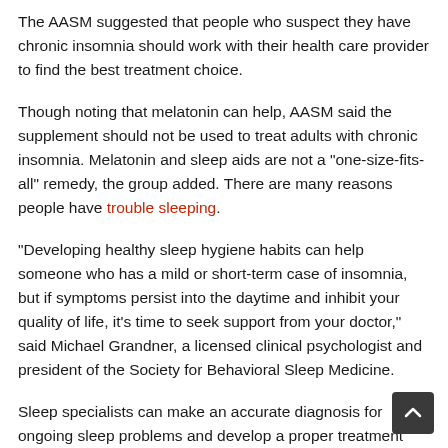The AASM suggested that people who suspect they have chronic insomnia should work with their health care provider to find the best treatment choice.
Though noting that melatonin can help, AASM said the supplement should not be used to treat adults with chronic insomnia. Melatonin and sleep aids are not a "one-size-fits-all" remedy, the group added. There are many reasons people have trouble sleeping.
"Developing healthy sleep hygiene habits can help someone who has a mild or short-term case of insomnia, but if symptoms persist into the daytime and inhibit your quality of life, it's time to seek support from your doctor," said Michael Grandner, a licensed clinical psychologist and president of the Society for Behavioral Sleep Medicine.
Sleep specialists can make an accurate diagnosis for ongoing sleep problems and develop a proper treatment plan for each patient, Grandner said.